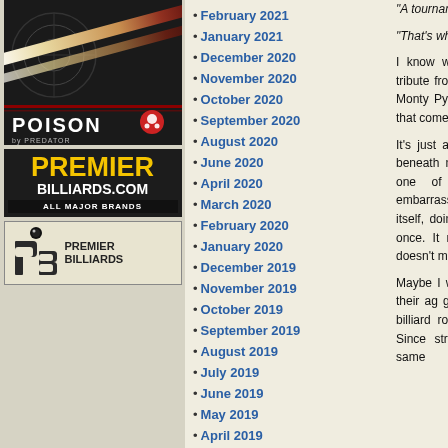[Figure (advertisement): Poison by Predator billiards cue advertisement with dark background and cue sticks]
[Figure (advertisement): Premier Billiards.com - All Major Brands advertisement with yellow and black text]
[Figure (advertisement): Premier Billiards logo with ball icon]
February 2021
January 2021
December 2020
November 2020
October 2020
September 2020
August 2020
June 2020
April 2020
March 2020
February 2020
January 2020
December 2019
November 2019
October 2019
September 2019
August 2019
July 2019
June 2019
May 2019
April 2019
March 2019
February 2019
January 2019
December 2018
"A tournament? They barel

"That's where the fun is."

I know when not to try to she deserved in tribute frou so I hobbled over to an e rated by Monty Python's M shot, wet cuffs and all, I w that comes only with age cared less.

It's just as well. By then I the fractured sole beneath manner of Roy Rogers' bearing was one of tru wathcing pool in Lilliput, embarrassed to run more t been near-godlike in itself, doing so. One time I cau reined it in at once. It mad game creates now and the is doesn't make the slighte

Maybe I was focusing too fact is, when I was their ag games' existence; Chicago to be in a billiard room and everybody there was at le Since strangers hardly opponents were the same